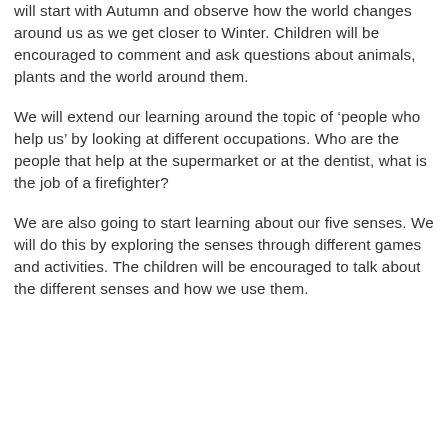will start with Autumn and observe how the world changes around us as we get closer to Winter. Children will be encouraged to comment and ask questions about animals, plants and the world around them.
We will extend our learning around the topic of 'people who help us' by looking at different occupations. Who are the people that help at the supermarket or at the dentist, what is the job of a firefighter?
We are also going to start learning about our five senses. We will do this by exploring the senses through different games and activities. The children will be encouraged to talk about the different senses and how we use them.